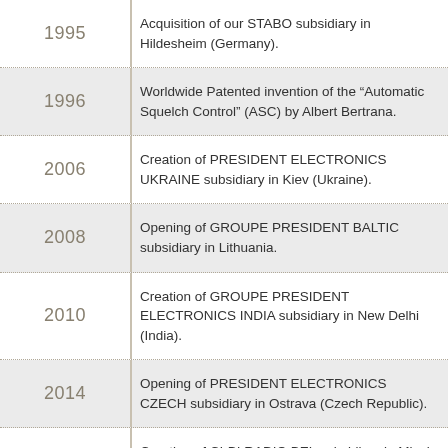1995 — Acquisition of our STABO subsidiary in Hildesheim (Germany).
1996 — Worldwide Patented invention of the “Automatic Squelch Control” (ASC) by Albert Bertrana.
2006 — Creation of PRESIDENT ELECTRONICS UKRAINE subsidiary in Kiev (Ukraine).
2008 — Opening of GROUPE PRESIDENT BALTIC subsidiary in Lithuania.
2010 — Creation of GROUPE PRESIDENT ELECTRONICS INDIA subsidiary in New Delhi (India).
2014 — Opening of PRESIDENT ELECTRONICS CZECH subsidiary in Ostrava (Czech Republic).
2015 — Creation of CI-BI RADIO BEL subsidiary in Minsk (Belarus).
PRESIDENT ELECTRONICS USA establishes office and warehouse in Naples, Florida. President CB...